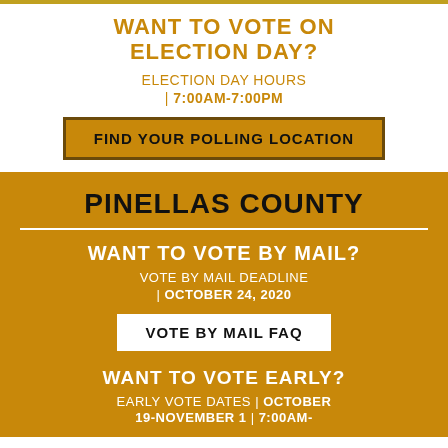WANT TO VOTE ON ELECTION DAY?
ELECTION DAY HOURS | 7:00AM-7:00PM
FIND YOUR POLLING LOCATION
PINELLAS COUNTY
WANT TO VOTE BY MAIL?
VOTE BY MAIL DEADLINE | OCTOBER 24, 2020
VOTE BY MAIL FAQ
WANT TO VOTE EARLY?
EARLY VOTE DATES | OCTOBER 19-NOVEMBER 1 | 7:00AM-